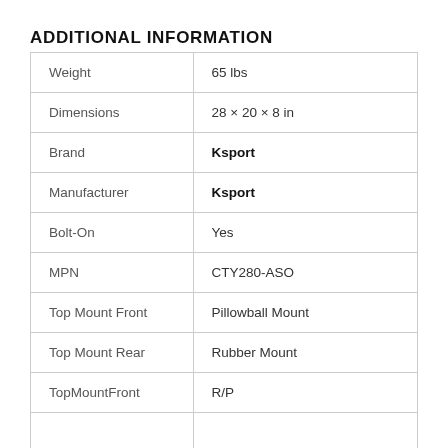ADDITIONAL INFORMATION
| Weight | 65 lbs |
| Dimensions | 28 × 20 × 8 in |
| Brand | Ksport |
| Manufacturer | Ksport |
| Bolt-On | Yes |
| MPN | CTY280-ASO |
| Top Mount Front | Pillowball Mount |
| Top Mount Rear | Rubber Mount |
| TopMountFront | R/P |
|  |  |